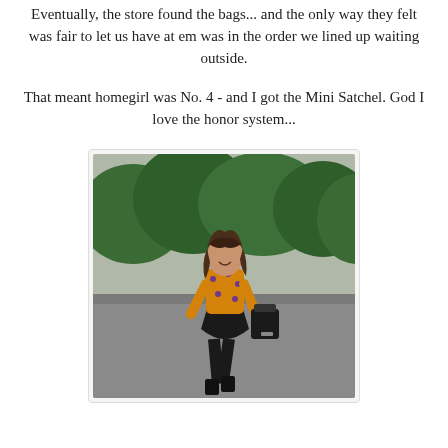Eventually, the store found the bags... and the only way they felt was fair to let us have at em was in the order we lined up waiting outside.
That meant homegirl was No. 4 - and I got the Mini Satchel. God I love the honor system...
[Figure (photo): A woman walking outdoors wearing an orange floral top, black skirt, and black ankle boots, carrying a black handbag. Trees are visible in the background.]